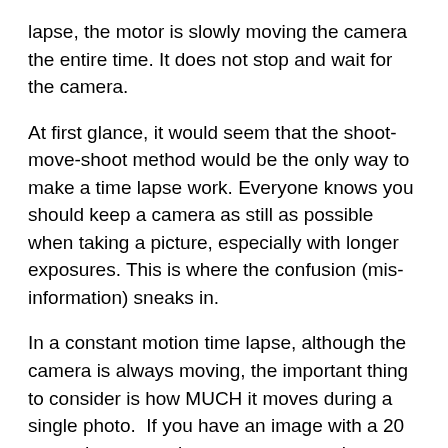lapse, the motor is slowly moving the camera the entire time. It does not stop and wait for the camera.
At first glance, it would seem that the shoot-move-shoot method would be the only way to make a time lapse work. Everyone knows you should keep a camera as still as possible when taking a picture, especially with longer exposures. This is where the confusion (mis-information) sneaks in.
In a constant motion time lapse, although the camera is always moving, the important thing to consider is how MUCH it moves during a single photo.  If you have an image with a 20 second exposure but your camera only moves the width of a hair, there is not going to be visible degradation in your image. That simply isn't enough movement to have a significant effect. The movement of the shutter release, a breeze, or of footsteps nearby would have a greater effect than the subtle, constant motion of the slider during a time